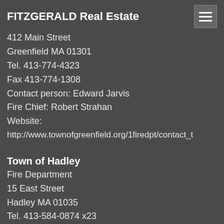FITZGERALD Real Estate
412 Main Street
Greenfield MA 01301
Tel. 413-774-4323
Fax 413-774-1308
Contact person: Edward Jarvis
Fire Chief: Robert Strahan
Website:
http://www.townofgreenfield.org/1firedpt/contact_t
Town of Hadley
Fire Department
15 East Street
Hadley MA 01035
Tel. 413-584-0874 x23